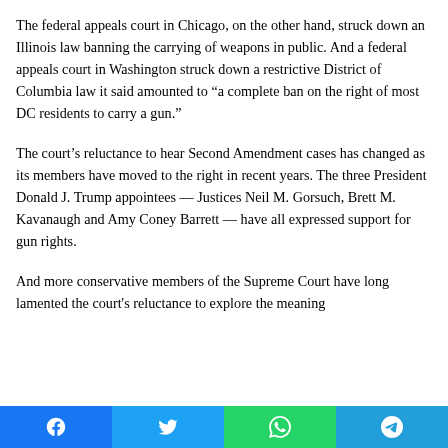The federal appeals court in Chicago, on the other hand, struck down an Illinois law banning the carrying of weapons in public. And a federal appeals court in Washington struck down a restrictive District of Columbia law it said amounted to “a complete ban on the right of most DC residents to carry a gun.”
The court’s reluctance to hear Second Amendment cases has changed as its members have moved to the right in recent years. The three President Donald J. Trump appointees — Justices Neil M. Gorsuch, Brett M. Kavanaugh and Amy Coney Barrett — have all expressed support for gun rights.
And more conservative members of the Supreme Court have long lamented the court’s reluctance to explore the meaning
Facebook | Twitter | WhatsApp | Telegram